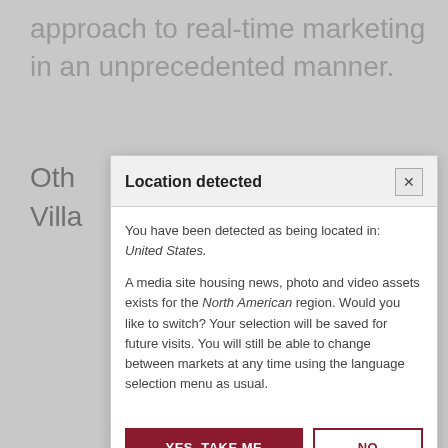approach to real-time marketing in an unprecedented manner.
Oth Villa
Location detected
You have been detected as being located in: United States.

A media site housing news, photo and video assets exists for the North American region. Would you like to switch? Your selection will be saved for future visits. You will still be able to change between markets at any time using the language selection menu as usual.
YES, TAKE ME THERE
NO THANKS